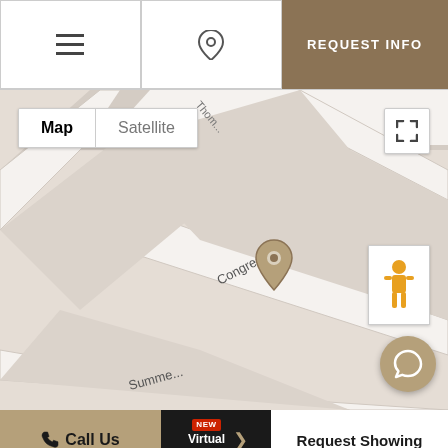[Figure (screenshot): Top navigation bar with list icon, location pin icon, and REQUEST INFO button in tan/brown color]
[Figure (map): Google Maps view showing Congress St, Thomson Pl, and Summer St area with a tan location pin marker, Map/Satellite toggle, fullscreen button, street view pegman, and chat bubble button]
[Figure (screenshot): Bottom action bar with Call Us button in tan, Virtual Options button with NEW badge, and Request Showing button in white]